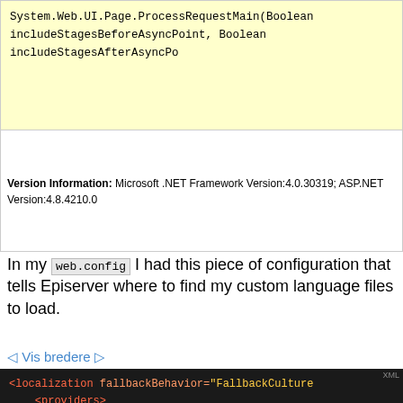System.Web.UI.Page.ProcessRequestMain(Boolean includeStagesBeforeAsyncPoint, Boolean includeStagesAfterAsyncPo
Version Information: Microsoft .NET Framework Version:4.0.30319; ASP.NET Version:4.8.4210.0
In my web.config I had this piece of configuration that tells Episerver where to find my custom language files to load.
◁ Vis bredere ▷
[Figure (screenshot): XML code block on dark background showing localization configuration with fallbackBehavior, providers, add name languageFiles, virtualPath ~/Resources/LanguageFiles, type EPiServer.Framework.Localization, and closing tags]